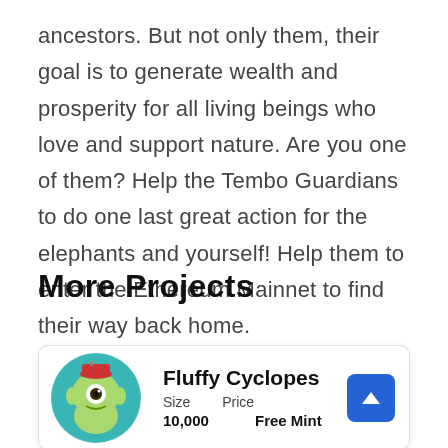ancestors. But not only them, their goal is to generate wealth and prosperity for all living beings who love and support nature. Are you one of them? Help the Tembo Guardians to do one last great action for the elephants and yourself! Help them to enter the Ethereum Mainnet to find their way back home.
More Projects
[Figure (illustration): Circular avatar illustration of a green cyclops monster creature wearing a red fez hat, on a teal background]
Fluffy Cyclopes
Size  Price
10,000  Free Mint